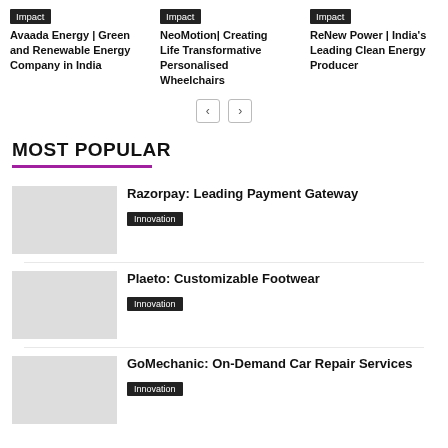Impact
Avaada Energy | Green and Renewable Energy Company in India
Impact
NeoMotion| Creating Life Transformative Personalised Wheelchairs
Impact
ReNew Power | India's Leading Clean Energy Producer
MOST POPULAR
Razorpay: Leading Payment Gateway
Innovation
Plaeto: Customizable Footwear
Innovation
GoMechanic: On-Demand Car Repair Services
Innovation